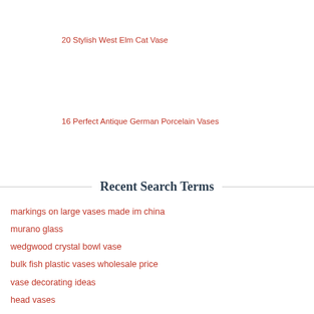20 Stylish West Elm Cat Vase
16 Perfect Antique German Porcelain Vases
Recent Search Terms
markings on large vases made im china
murano glass
wedgwood crystal bowl vase
bulk fish plastic vases wholesale price
vase decorating ideas
head vases